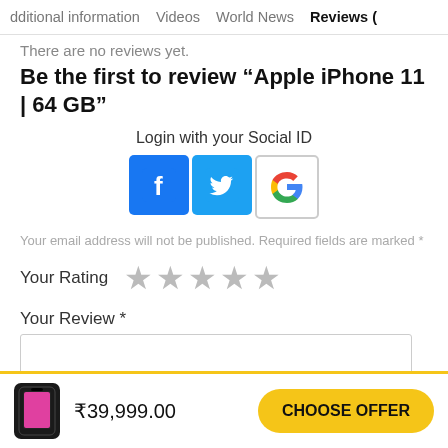dditional information   Videos   World News   Reviews (
There are no reviews yet.
Be the first to review “Apple iPhone 11 | 64 GB”
Login with your Social ID
[Figure (other): Social login icons: Facebook (blue), Twitter (blue), Google (white with G logo)]
Your email address will not be published. Required fields are marked *
Your Rating ★★★★★
Your Review *
₹39,999.00
CHOOSE OFFER